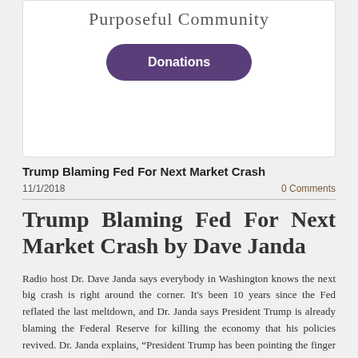Purposeful Community
[Figure (other): Donations button with dark purple rounded rectangle styling]
Trump Blaming Fed For Next Market Crash
11/1/2018
0 Comments
Trump Blaming Fed For Next Market Crash by Dave Janda
Radio host Dr. Dave Janda says everybody in Washington knows the next big crash is right around the corner. It's been 10 years since the Fed reflated the last meltdown, and Dr. Janda says President Trump is already blaming the Federal Reserve for killing the economy that his policies revived. Dr. Janda explains, “President Trump has been pointing the finger at the Fed. He’s been pointing the finger at the Fed, and that is exactly where he should be pointing. The globalist syndicate’s tentacle is the central banking system, and, in particular, in the United States, the Federal Reserve. The Federal Reserve